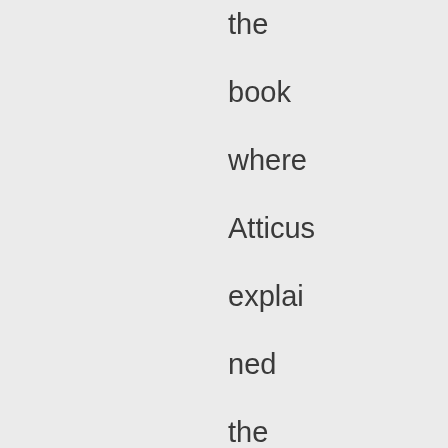the book where Atticus explained the situation to Scout could be better written if Lee had a chance